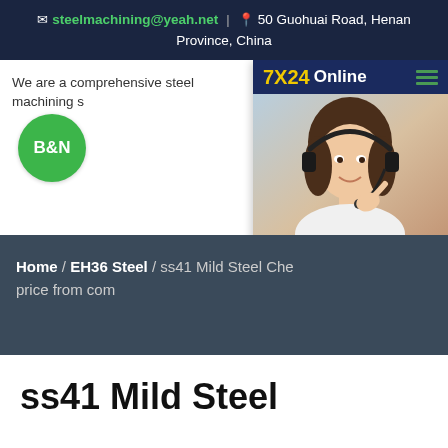steelmachining@yeah.net | 50 Guohuai Road, Henan Province, China
We are a comprehensive steel machining s...
[Figure (logo): B&N green circular logo with white bold text]
[Figure (infographic): 7X24 Online chat popup with customer service representative photo, 'Hello,may I help you?' text and 'Get Latest Price' button]
Home / EH36 Steel / ss41 Mild Steel Che... price from com
ss41 Mild Steel